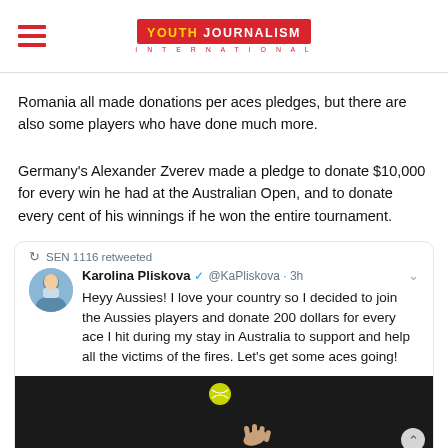Youth Journalism International
Romania all made donations per aces pledges, but there are also some players who have done much more.
Germany's Alexander Zverev made a pledge to donate $10,000 for every win he had at the Australian Open, and to donate every cent of his winnings if he won the entire tournament.
[Figure (screenshot): Embedded tweet from Karolina Pliskova (@KaPliskova) retweeted by SEN 1116: 'Heyy Aussies! I love your country so I decided to join the Aussies players and donate 200 dollars for every ace I hit during my stay in Australia to support and help all the victims of the fires. Let's get some aces going!' with a tennis serve image attached.]